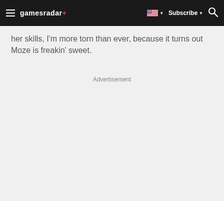gamesradar+ | Subscribe | Search
her skills, I'm more torn than ever, because it turns out Moze is freakin' sweet.
Advertisement